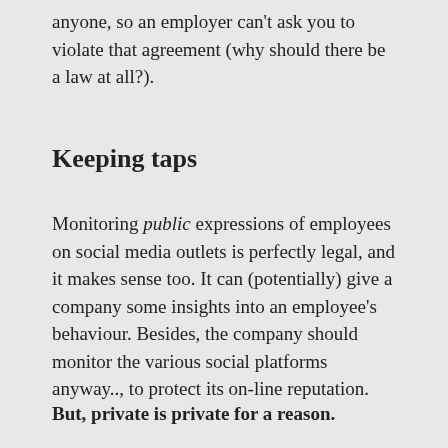anyone, so an employer can't ask you to violate that agreement (why should there be a law at all?).
Keeping taps
Monitoring public expressions of employees on social media outlets is perfectly legal, and it makes sense too. It can (potentially) give a company some insights into an employee's behaviour. Besides, the company should monitor the various social platforms anyway.., to protect its on-line reputation.
But, private is private for a reason.